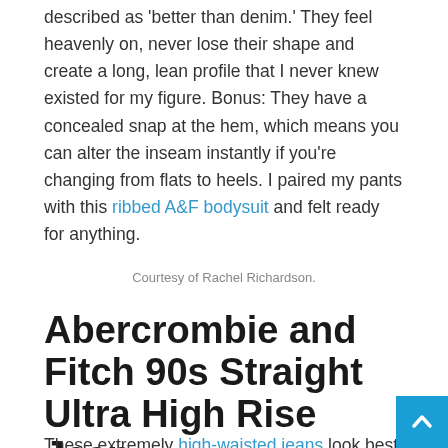described as 'better than denim.' They feel heavenly on, never lose their shape and create a long, lean profile that I never knew existed for my figure. Bonus: They have a concealed snap at the hem, which means you can alter the inseam instantly if you're changing from flats to heels. I paired my pants with this ribbed A&F bodysuit and felt ready for anything.
Courtesy of Rachel Richardson.
Abercrombie and Fitch 90s Straight Ultra High Rise Jean
These extremely high-waisted jeans look best